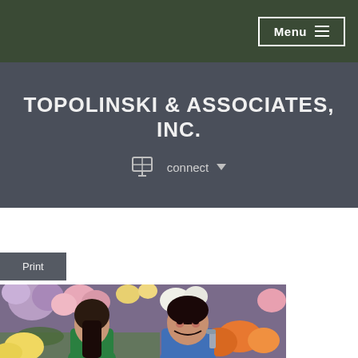Menu
TOPOLINSKI & ASSOCIATES, INC.
connect
Print
[Figure (photo): Two Asian women smiling at each other in a flower shop, surrounded by colorful flowers including purple hydrangeas, pink roses, and orange lilies. One woman wears a blue apron and holds a spray bottle.]